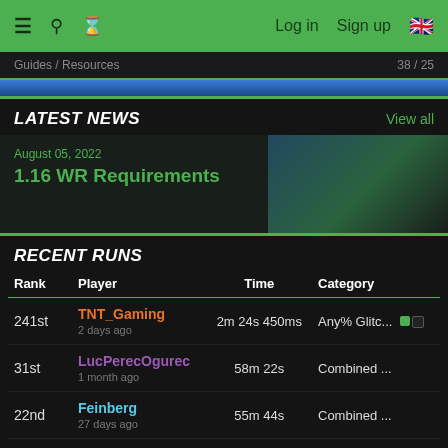≡  🔍  ⏳  Log in  Sign up  🇬🇧
Guides / Resources   38 / 25
LATEST NEWS
View all
August 05, 2022
1.16 WR Requirements
RECENT RUNS
| Rank | Player | Time | Category |
| --- | --- | --- | --- |
| 241st | TNT_Gaming
2 days ago | 2m 24s 450ms | Any% Glitc... |
| 31st | LucPerecOgurec
1 month ago | 58m 22s | Combined ... |
| 22nd | Feinberg
27 days ago | 55m 44s | Combined ... |